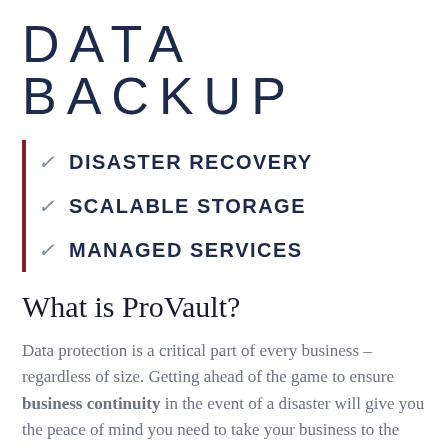DATA BACKUP
DISASTER RECOVERY
SCALABLE STORAGE
MANAGED SERVICES
What is ProVault?
Data protection is a critical part of every business – regardless of size. Getting ahead of the game to ensure business continuity in the event of a disaster will give you the peace of mind you need to take your business to the